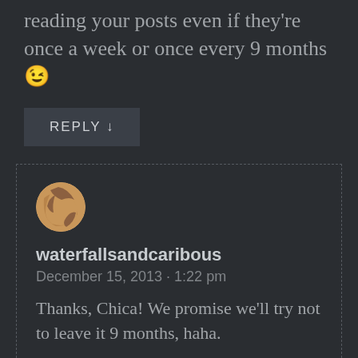reading your posts even if they're once a week or once every 9 months 😉
REPLY ↓
[Figure (illustration): Circular avatar image with beige/tan and dark abstract design representing user waterfallsandcaribous]
waterfallsandcaribous
December 15, 2013 · 1:22 pm
Thanks, Chica! We promise we'll try not to leave it 9 months, haha.
REPLY